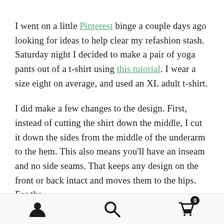I went on a little Pinterest binge a couple days ago looking for ideas to help clear my refashion stash. Saturday night I decided to make a pair of yoga pants out of a t-shirt using this tutorial. I wear a size eight on average, and used an XL adult t-shirt.
I did make a few changes to the design. First, instead of cutting the shirt down the middle, I cut it down the sides from the middle of the underarm to the hem. This also means you'll have an inseam and no side seams. That keeps any design on the front or back intact and moves them to the hips. For the
[Figure (other): Mobile app bottom navigation bar with three icons: user/profile icon on the left, search magnifying glass icon in the center, and shopping cart icon with a badge showing '0' on the right.]